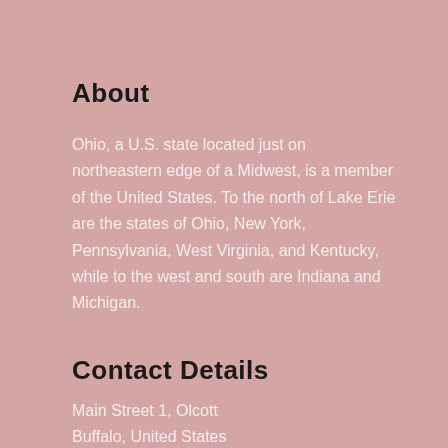About
Ohio, a U.S. state located just on northeastern edge of a Midwest, is a member of the United States. To the north of Lake Erie are the states of Ohio, New York, Pennsylvania, West Virginia, and Kentucky, while to the west and south are Indiana and Michigan.
Contact Details
Main Street 1, Olcott
Buffalo, United States